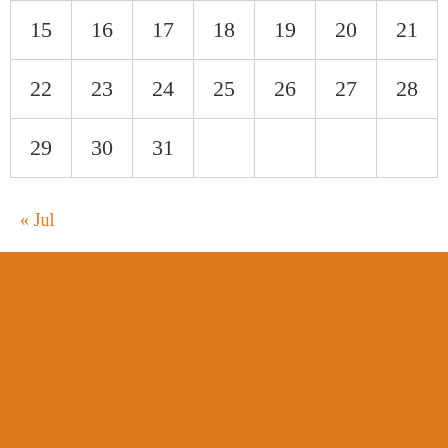| 15 | 16 | 17 | 18 | 19 | 20 | 21 |
| 22 | 23 | 24 | 25 | 26 | 27 | 28 |
| 29 | 30 | 31 |  |  |  |  |
« Jul
[Figure (other): Orange footer background block]